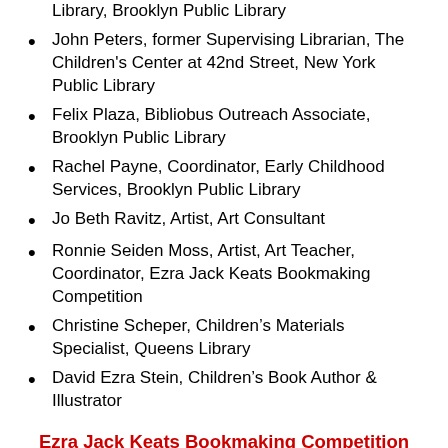Library, Brooklyn Public Library
John Peters, former Supervising Librarian, The Children's Center at 42nd Street, New York Public Library
Felix Plaza, Bibliobus Outreach Associate, Brooklyn Public Library
Rachel Payne, Coordinator, Early Childhood Services, Brooklyn Public Library
Jo Beth Ravitz, Artist, Art Consultant
Ronnie Seiden Moss, Artist, Art Teacher, Coordinator, Ezra Jack Keats Bookmaking Competition
Christine Scheper, Children's Materials Specialist, Queens Library
David Ezra Stein, Children's Book Author & Illustrator
Ezra Jack Keats Bookmaking Competition Goes to San Francisco
The Contemporary Jewish Museum, Ezra Jack Keats Foundation and San Francisco Unified School District